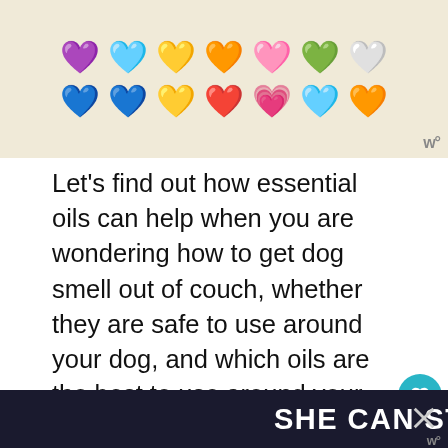[Figure (illustration): Colorful kawaii heart emojis arranged in two rows on a beige/cream background, with various colors including purple, blue, yellow, red, pink, teal, and orange. A 'w°' logo appears in the bottom right corner of the image.]
Let's find out how essential oils can help when you are wondering how to get dog smell out of couch, whether they are safe to use around your dog, and which oils are the best to use around your pet.
Here are some tips on how to get
[Figure (screenshot): 'WHAT'S NEXT' overlay showing '5 Carpet Freshener...' with a circular thumbnail of Recipes Carpet Smell logo]
[Figure (screenshot): Dark banner ad at bottom reading 'SHE CAN STEM' in bold white text on dark navy background]